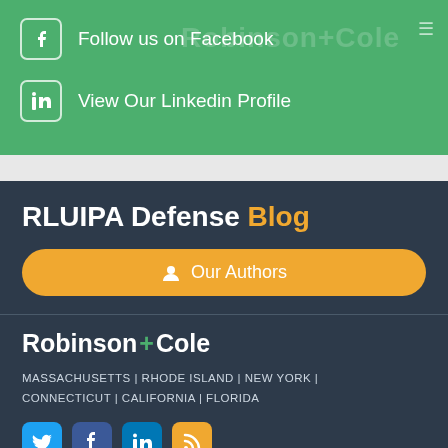Follow us on Facebook
View Our Linkedin Profile
RLUIPA Defense Blog
Our Authors
[Figure (logo): Robinson+Cole law firm logo]
MASSACHUSETTS | RHODE ISLAND | NEW YORK | CONNECTICUT | CALIFORNIA | FLORIDA
[Figure (infographic): Social media icons: Twitter, Facebook, LinkedIn, RSS]
Privacy Policy | Disclaimer